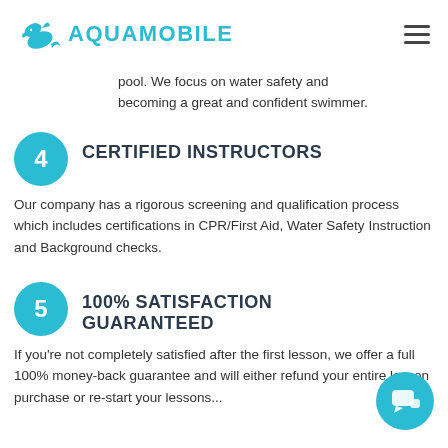AQUAMOBILE
pool. We focus on water safety and becoming a great and confident swimmer.
4 CERTIFIED INSTRUCTORS
Our company has a rigorous screening and qualification process which includes certifications in CPR/First Aid, Water Safety Instruction and Background checks.
5 100% SATISFACTION GUARANTEED
If you’re not completely satisfied after the first lesson, we offer a full 100% money-back guarantee and will either refund your entire lesson purchase or re-start your lessons...